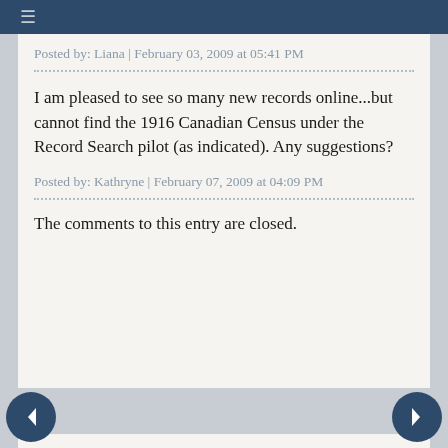≡
Posted by: Liana | February 03, 2009 at 05:41 PM
I am pleased to see so many new records online...but cannot find the 1916 Canadian Census under the Record Search pilot (as indicated). Any suggestions?
Posted by: Kathryne | February 07, 2009 at 04:09 PM
The comments to this entry are closed.